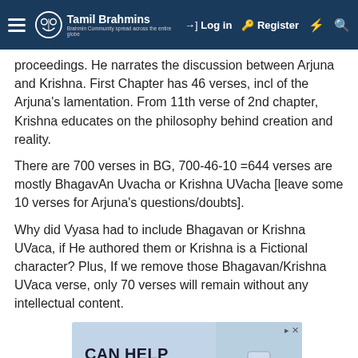Tamil Brahmins — Log in | Register
proceedings. He narrates the discussion between Arjuna and Krishna. First Chapter has 46 verses, incl of the Arjuna's lamentation. From 11th verse of 2nd chapter, Krishna educates on the philosophy behind creation and reality.
There are 700 verses in BG, 700-46-10 =644 verses are mostly BhagavAn Uvacha or Krishna UVacha [leave some 10 verses for Arjuna's questions/doubts].
Why did Vyasa had to include Bhagavan or Krishna UVaca, if He authored them or Krishna is a Fictional character? Plus, If we remove those Bhagavan/Krishna UVaca verse, only 70 verses will remain without any intellectual content.
[Figure (infographic): Advertisement banner for Bened Life product NEURALIFE. Text reads: CAN HELP YOU COPE WITH ANXIETY. Bened Life. Shows a supplement bottle on blue-grey background.]